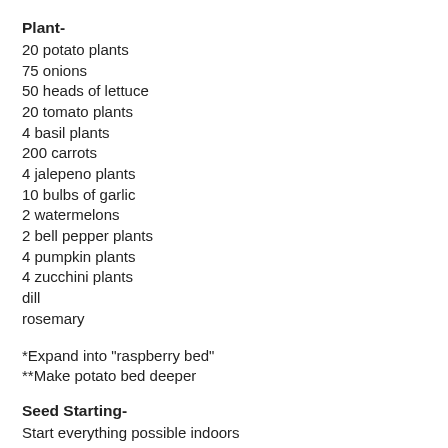Plant-
20 potato plants
75 onions
50 heads of lettuce
20 tomato plants
4 basil plants
200 carrots
4 jalepeno plants
10 bulbs of garlic
2 watermelons
2 bell pepper plants
4 pumpkin plants
4 zucchini plants
dill
rosemary
*Expand into "raspberry bed"
**Make potato bed deeper
Seed Starting-
Start everything possible indoors